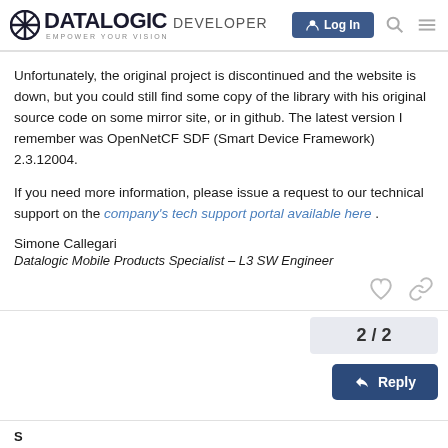DATALOGIC DEVELOPER — Empower Your Vision
Unfortunately, the original project is discontinued and the website is down, but you could still find some copy of the library with his original source code on some mirror site, or in github. The latest version I remember was OpenNetCF SDF (Smart Device Framework) 2.3.12004.
If you need more information, please issue a request to our technical support on the company's tech support portal available here .
Simone Callegari
Datalogic Mobile Products Specialist – L3 SW Engineer
2 / 2